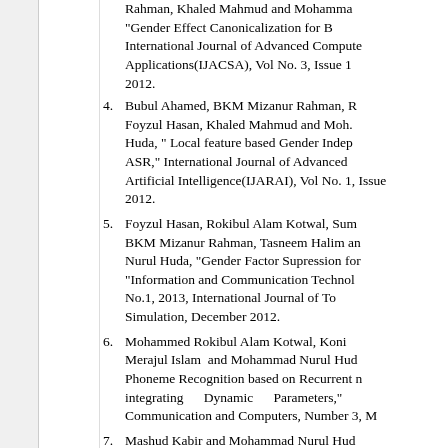(continuing) Rahman, Khaled Mahmud and Mohammad... "Gender Effect Canonicalization for B... International Journal of Advanced Computer Applications(IJACSA), Vol No. 3, Issue 1 2012.
4. Bubul Ahamed, BKM Mizanur Rahman, R. Foyzul Hasan, Khaled Mahmud and Moh. Huda, " Local feature based Gender Indep... ASR," International Journal of Advanced Artificial Intelligence(IJARAI), Vol No. 1, Issue 2012.
5. Foyzul Hasan, Rokibul Alam Kotwal, Sum... BKM Mizanur Rahman, Tasneem Halim an... Nurul Huda, "Gender Factor Supression for "Information and Communication Technol... No.1, 2013, International Journal of To... Simulation, December 2012.
6. Mohammed Rokibul Alam Kotwal, Koni... Merajul Islam and Mohammad Nurul Hud... Phoneme Recognition based on Recurrent n... integrating Dynamic Parameters," Communication and Computers, Number 3, M...
7. Mashud Kabir and Mohammad Nurul Hud...